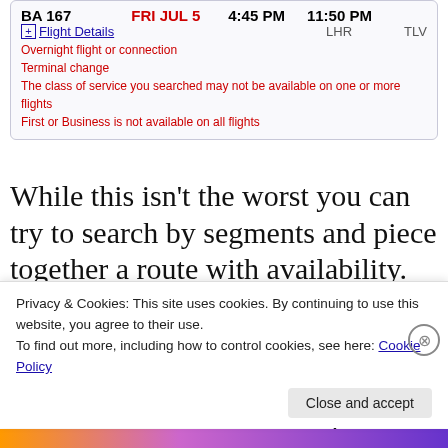[Figure (screenshot): Flight booking result showing BA 167, FRI JUL 5, 4:45 PM LHR to 11:50 PM TLV with warnings about overnight flight, terminal change, class of service, and First or Business availability.]
While this isn't the worst you can try to search by segments and piece together a route with availability.  So in this example you could search for dates that have non-stop award seats from PHL-LHR and then add in the others. Keep in mind that the online tool may not let you piece these together so you may have to call
Privacy & Cookies: This site uses cookies. By continuing to use this website, you agree to their use.
To find out more, including how to control cookies, see here: Cookie Policy
Close and accept